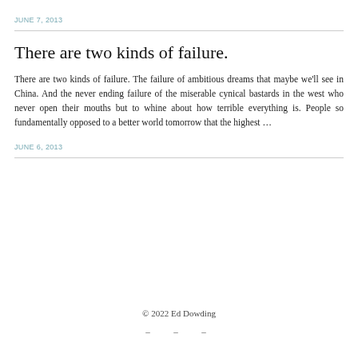JUNE 7, 2013
There are two kinds of failure.
There are two kinds of failure. The failure of ambitious dreams that maybe we'll see in China. And the never ending failure of the miserable cynical bastards in the west who never open their mouths but to whine about how terrible everything is. People so fundamentally opposed to a better world tomorrow that the highest …
JUNE 6, 2013
© 2022 Ed Dowding
– – –